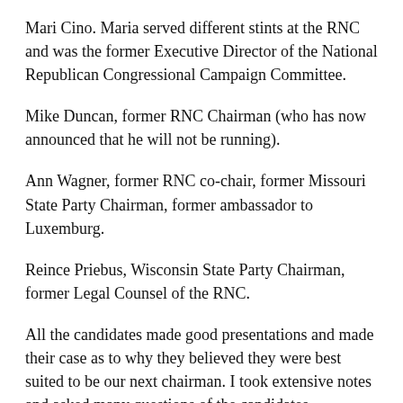Mari Cino. Maria served different stints at the RNC and was the former Executive Director of the National Republican Congressional Campaign Committee.
Mike Duncan, former RNC Chairman (who has now announced that he will not be running).
Ann Wagner, former RNC co-chair, former Missouri State Party Chairman, former ambassador to Luxemburg.
Reince Priebus, Wisconsin State Party Chairman, former Legal Counsel of the RNC.
All the candidates made good presentations and made their case as to why they believed they were best suited to be our next chairman. I took extensive notes and asked many questions of the candidates. Questions posed to the candidates by me and other RNC members in attendance focused on fundraising,